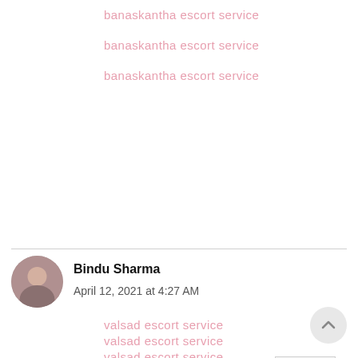banaskantha escort service
banaskantha escort service
banaskantha escort service
Reply
Bindu Sharma
April 12, 2021 at 4:27 AM
valsad escort service
valsad escort service
valsad escort service
valsad escort service
valsad escort service
valsad escort service
valsad escort service
valsad escort service
valsad escort service